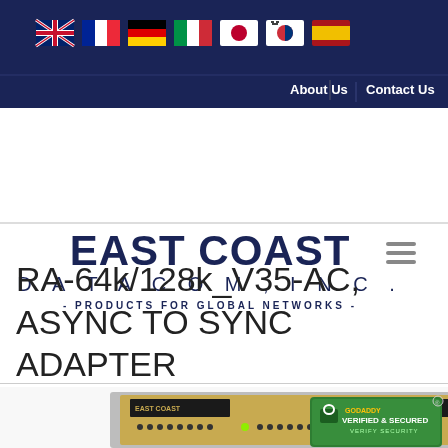[Figure (screenshot): Navigation header bar with country flags (UK, France, Germany, Italy, Japan, South Korea, Spain) and nav links About Us and Contact Us on dark navy background]
[Figure (logo): East Coast Datacom, Inc. logo with tagline - Products For Global Networks -]
RA-64k/128k_V35-AC, ASYNC TO SYNC ADAPTER
[Figure (photo): Photo of the RA-64k/128k AC hardware device, a gold/beige rack-mounted unit with connectors, with GoDaddy Verified & Secured badge overlay]